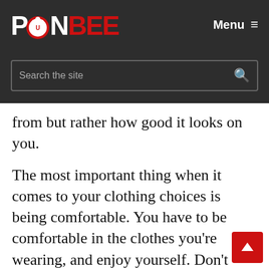PONBEE — Menu
Search the site
from but rather how good it looks on you.
The most important thing when it comes to your clothing choices is being comfortable. You have to be comfortable in the clothes you're wearing, and enjoy yourself. Don't ever dress for anyone but yourself, and always listen to your inner voice. If it tells you to wear a neon onesie to go running, then so be it, as long as it is practical and comfortable enough for you to pull it off.